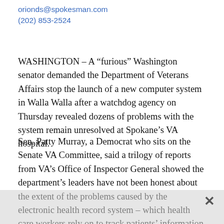orionds@spokesman.com
(202) 853-2524
WASHINGTON – A “furious” Washington senator demanded the Department of Veterans Affairs stop the launch of a new computer system in Walla Walla after a watchdog agency on Thursday revealed dozens of problems with the system remain unresolved at Spokane’s VA hospital.
Sen. Patty Murray, a Democrat who sits on the Senate VA Committee, said a trilogy of reports from VA’s Office of Inspector General showed the department’s leaders have not been honest about the extent of the problems caused by the electronic health record system – which health care workers rely on to track patients’ information and coordinate care – since it was launched at the Mann-